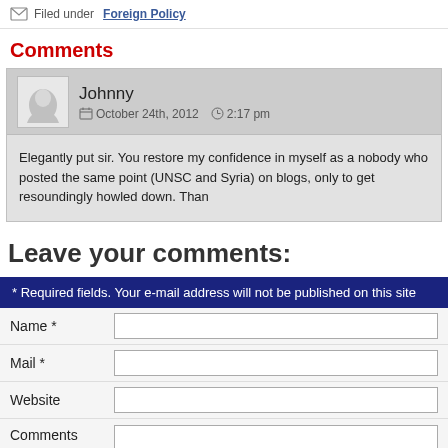Filed under Foreign Policy
Comments
Johnny  October 24th, 2012  2:17 pm
Elegantly put sir. You restore my confidence in myself as a nobody who posted the same point (UNSC and Syria) on blogs, only to get resoundingly howled down. Than
Leave your comments:
* Required fields. Your e-mail address will not be published on this site
Name *
Mail *
Website
Comments